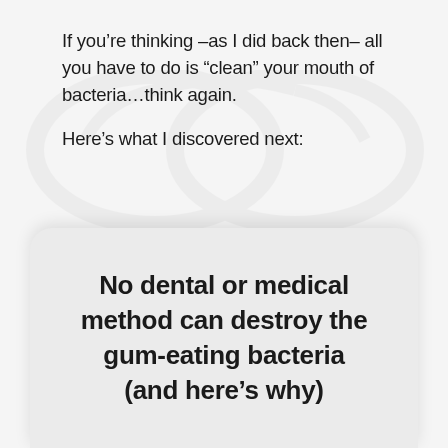If you’re thinking –as I did back then– all you have to do is “clean” your mouth of bacteria…think again.
Here’s what I discovered next:
No dental or medical method can destroy the gum-eating bacteria (and here’s why)